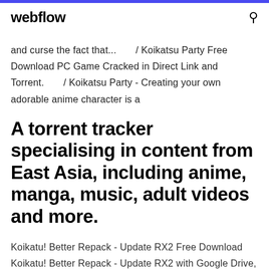webflow
and curse the fact that...  / Koikatsu Party Free Download PC Game Cracked in Direct Link and Torrent.  / Koikatsu Party - Creating your own adorable anime character is a
A torrent tracker specialising in content from East Asia, including anime, manga, music, adult videos and more.
Koikatu! Better Repack - Update RX2 Free Download Koikatu! Better Repack - Update RX2 with Google Drive, MEGA, Torrent. Koikatu, Koikatu Crack, Koikatu Free Download, koikatu